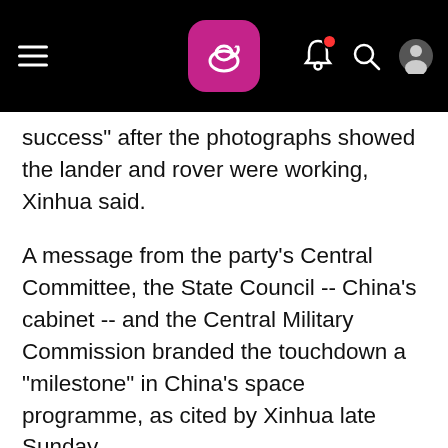News app header with hamburger menu, logo, bell notification, search, and user icons
success" after the photographs showed the lander and rover were working, Xinhua said.
A message from the party's Central Committee, the State Council -- China's cabinet -- and the Central Military Commission branded the touchdown a "milestone" in China's space programme, as cited by Xinhua late Sunday.
"One Giant Leap for China," read the headline in Hong Kong's Sunday Morning Post, evoking the words in 1969 of American astronaut Neil Armstrong, the first man on the moon.
The landing, nearly two weeks after blast-off, was the